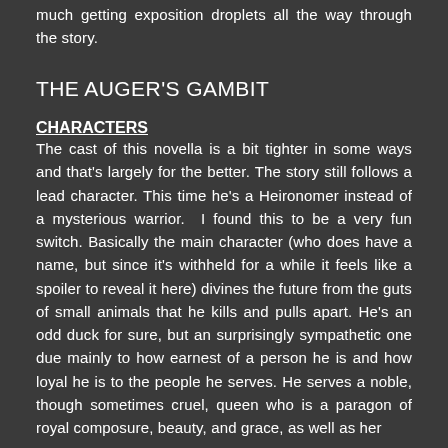much getting exposition droplets all the way through the story.
THE AUGER'S GAMBIT
CHARACTERS
The cast of this novella is a bit tighter in some ways and that's largely for the better. The story still follows a lead character. This time he's a Heironomer instead of a mysterious warrior.  I found this to be a very fun switch. Basically the main character (who does have a name, but since it's withheld for a while it feels like a spoiler to reveal it here) divines the future from the guts of small animals that he kills and pulls apart. He's an odd duck for sure, but an surprisingly sympathetic one due mainly to how earnest of a person he is and how loyal he is to the people he serves. He serves a noble, though sometimes cruel, queen who is a paragon of royal composure, beauty, and grace, as well as her